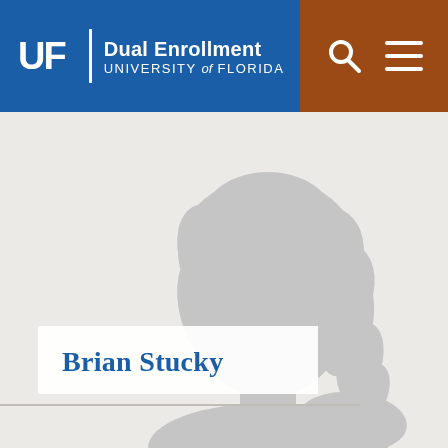UF | Dual Enrollment UNIVERSITY of FLORIDA
[Figure (illustration): Gray silhouette of a female person against a light beige/gray textured background, positioned in the center-right of the main content area]
Brian Stucky